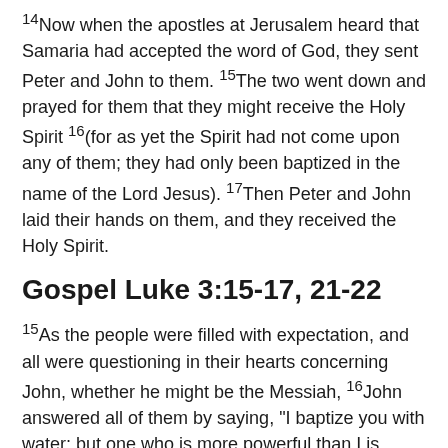14Now when the apostles at Jerusalem heard that Samaria had accepted the word of God, they sent Peter and John to them. 15The two went down and prayed for them that they might receive the Holy Spirit 16(for as yet the Spirit had not come upon any of them; they had only been baptized in the name of the Lord Jesus). 17Then Peter and John laid their hands on them, and they received the Holy Spirit.
Gospel Luke 3:15-17, 21-22
15As the people were filled with expectation, and all were questioning in their hearts concerning John, whether he might be the Messiah, 16John answered all of them by saying, "I baptize you with water; but one who is more powerful than I is coming; I am not worthy to untie the thong of his sandals. He will baptize you with the Holy Spirit and fire. 17His winnowing fork is in his hand, to clear his threshing floor and to gather the wheat into his granary; but the chaff he will burn with unquenchable